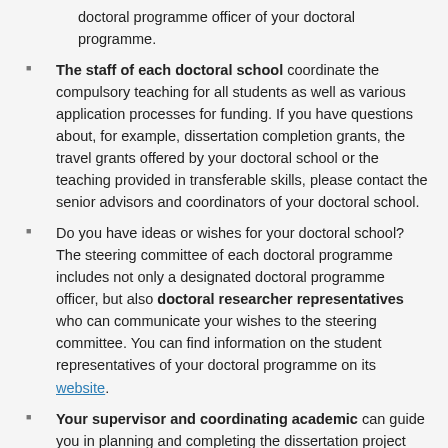doctoral programme officer of your doctoral programme.
The staff of each doctoral school coordinate the compulsory teaching for all students as well as various application processes for funding. If you have questions about, for example, dissertation completion grants, the travel grants offered by your doctoral school or the teaching provided in transferable skills, please contact the senior advisors and coordinators of your doctoral school.
Do you have ideas or wishes for your doctoral school? The steering committee of each doctoral programme includes not only a designated doctoral programme officer, but also doctoral researcher representatives who can communicate your wishes to the steering committee. You can find information on the student representatives of your doctoral programme on its website.
Your supervisor and coordinating academic can guide you in planning and completing the dissertation project and degree studies as well as integrating into the academic community. Your first point of contact should